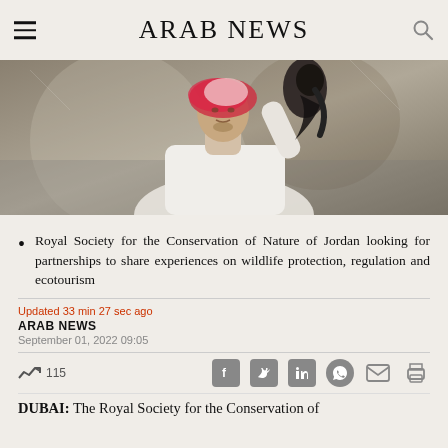ARAB NEWS
[Figure (photo): A young man wearing a white thobe and red-and-white keffiyeh, holding up a falcon with a dark hood on his arm.]
Royal Society for the Conservation of Nature of Jordan looking for partnerships to share experiences on wildlife protection, regulation and ecotourism
Updated 33 min 27 sec ago
ARAB NEWS
September 01, 2022 09:05
~115
DUBAI: The Royal Society for the Conservation of